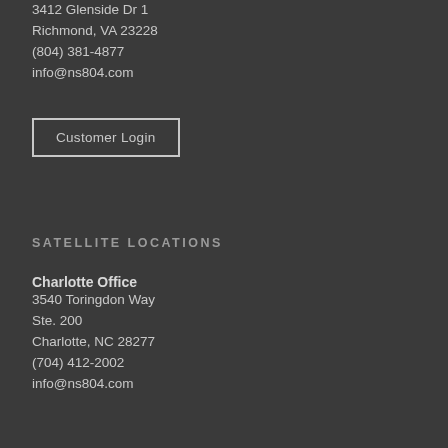3412 Glenside Dr 1
Richmond, VA 23228
(804) 381-4877
info@ns804.com
Customer Login
SATELLITE LOCATIONS
Charlotte Office
3540 Toringdon Way
Ste. 200
Charlotte, NC 28277
(704) 412-2002
info@ns804.com